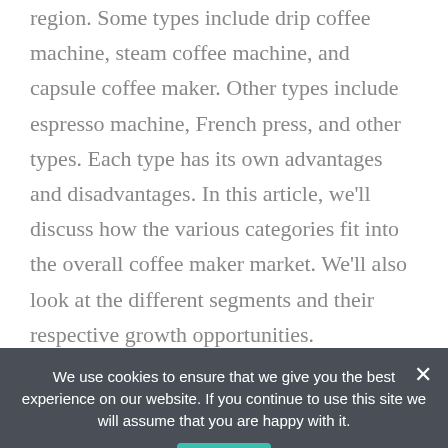region. Some types include drip coffee machine, steam coffee machine, and capsule coffee maker. Other types include espresso machine, French press, and other types. Each type has its own advantages and disadvantages. In this article, we'll discuss how the various categories fit into the overall coffee maker market. We'll also look at the different segments and their respective growth opportunities.
it's important to ask about cleaning tips. Most coffee makers need deep cleaning on a periodic basis. Some
We use cookies to ensure that we give you the best experience on our website. If you continue to use this site we will assume that you are happy with it.